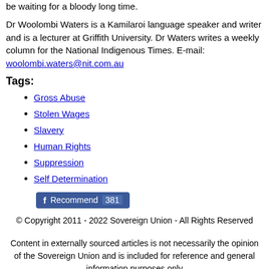be waiting for a bloody long time.
Dr Woolombi Waters is a Kamilaroi language speaker and writer and is a lecturer at Griffith University. Dr Waters writes a weekly column for the National Indigenous Times. E-mail: woolombi.waters@nit.com.au
Tags:
Gross Abuse
Stolen Wages
Slavery
Human Rights
Suppression
Self Determination
[Figure (other): Facebook Recommend button showing count of 381]
© Copyright 2011 - 2022 Sovereign Union - All Rights Reserved
Content in externally sourced articles is not necessarily the opinion of the Sovereign Union and is included for reference and general information purposes only